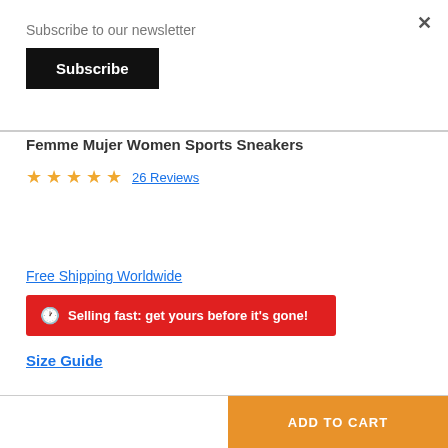×
Subscribe to our newsletter
Subscribe
Femme Mujer Women Sports Sneakers
★★★★★ 26 Reviews
Free Shipping Worldwide
Selling fast: get yours before it's gone!
Size Guide
ADD TO CART